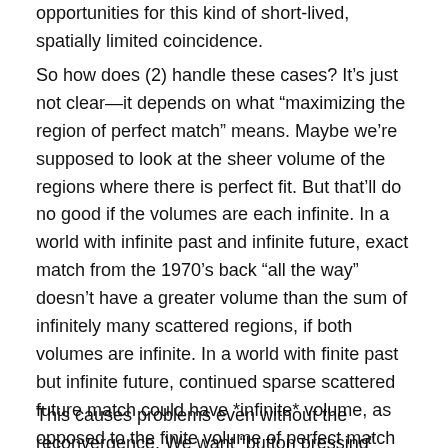opportunities for this kind of short-lived, spatially limited coincidence.
So how does (2) handle these cases? It’s just not clear—it depends on what “maximizing the region of perfect match” means. Maybe we’re supposed to look at the sheer volume of the regions where there is perfect fit. But that’ll do no good if the volumes are each infinite. In a world with infinite past and infinite future, exact match from the 1970’s back “all the way” doesn’t have a greater volume than the sum of infinitely many scattered regions, if both volumes are infinite. In a world with finite past but infinite future, continued sparse scattered future match could have *infinite* volume, as opposed to the finite volume of perfect match secured for NIX.
This causes problems even without the reconvergence. We want “button pressing” worlds not to diverge too early…